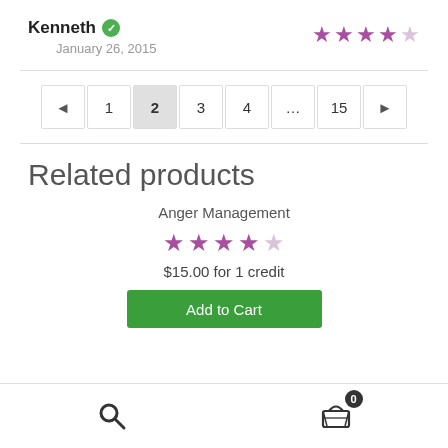Kenneth ✓  January 26, 2015  ★★★★☆
[Figure (other): Pagination bar with pages: ◄ 1 2 3 4 … 15 ►, page 2 highlighted]
Related products
Anger Management
[Figure (other): 4-star rating out of 5 stars (purple filled)]
$15.00 for 1 credit
Add to Cart
Search icon | Cart icon with badge 0